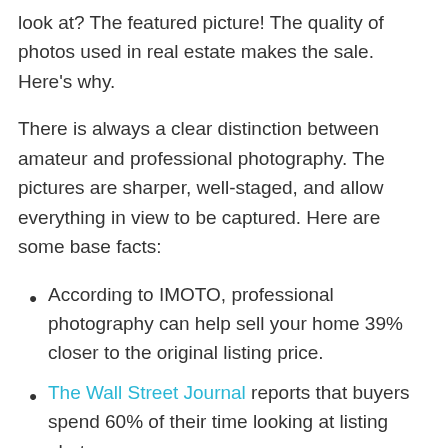look at? The featured picture! The quality of photos used in real estate makes the sale. Here's why.
There is always a clear distinction between amateur and professional photography. The pictures are sharper, well-staged, and allow everything in view to be captured. Here are some base facts:
According to IMOTO, professional photography can help sell your home 39% closer to the original listing price.
The Wall Street Journal reports that buyers spend 60% of their time looking at listing photos.
Listings with professional photographs